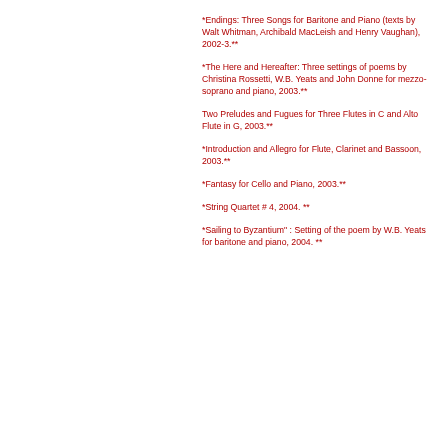*Endings: Three Songs for Baritone and Piano (texts by Walt Whitman, Archibald MacLeish and Henry Vaughan), 2002-3.**
*The Here and Hereafter: Three settings of poems by Christina Rossetti, W.B. Yeats and John Donne for mezzo-soprano and piano, 2003.**
Two Preludes and Fugues for Three Flutes in C and Alto Flute in G, 2003.**
*Introduction and Allegro for Flute, Clarinet and Bassoon, 2003.**
*Fantasy for Cello and Piano, 2003.**
*String Quartet # 4, 2004. **
*Sailing to Byzantium" : Setting of the poem by W.B. Yeats for baritone and piano, 2004. **